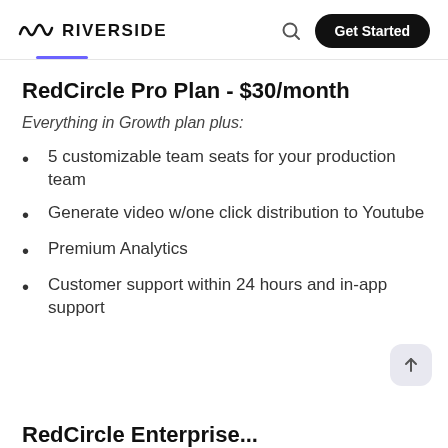RIVERSIDE  Get Started
RedCircle Pro Plan - $30/month
Everything in Growth plan plus:
5 customizable team seats for your production team
Generate video w/one click distribution to Youtube
Premium Analytics
Customer support within 24 hours and in-app support
RedCircle Enterprise...